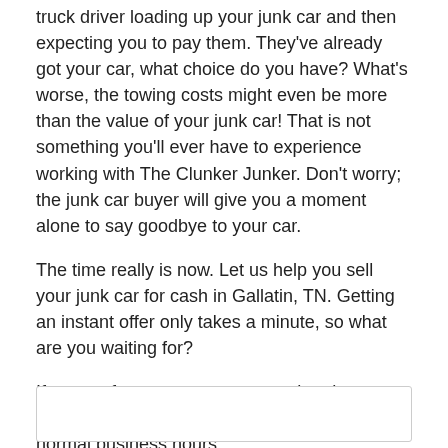truck driver loading up your junk car and then expecting you to pay them. They've already got your car, what choice do you have? What's worse, the towing costs might even be more than the value of your junk car! That is not something you'll ever have to experience working with The Clunker Junker. Don't worry; the junk car buyer will give you a moment alone to say goodbye to your car.
The time really is now. Let us help you sell your junk car for cash in Gallatin, TN. Getting an instant offer only takes a minute, so what are you waiting for?
If you prefer to get a quote over the phone, you can reach us at (888) 383-4181 during our normal business hours.
[Figure (other): Empty bordered box at the bottom of the page]